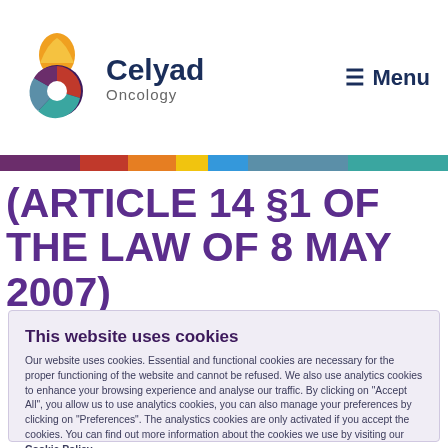Celyad Oncology — Menu
(ARTICLE 14 §1 OF THE LAW OF 8 MAY 2007)
This website uses cookies
Our website uses cookies. Essential and functional cookies are necessary for the proper functioning of the website and cannot be refused. We also use analytics cookies to enhance your browsing experience and analyse our traffic. By clicking on "Accept All", you allow us to use analytics cookies, you can also manage your preferences by clicking on "Preferences". The analystics cookies are only activated if you accept the cookies. You can find out more information about the cookies we use by visiting our Cookie Policy.